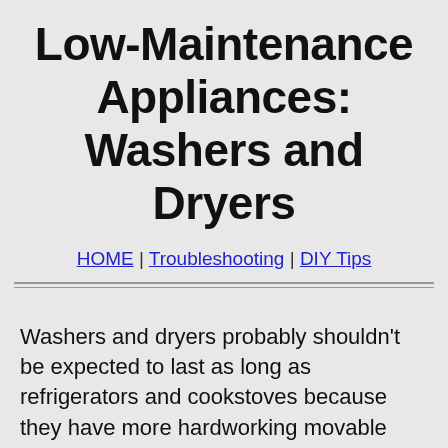Low-Maintenance Appliances: Washers and Dryers
HOME | Troubleshooting | DIY Tips
Washers and dryers probably shouldn't be expected to last as long as refrigerators and cookstoves because they have more hardworking movable parts. At any rate, the modern versions